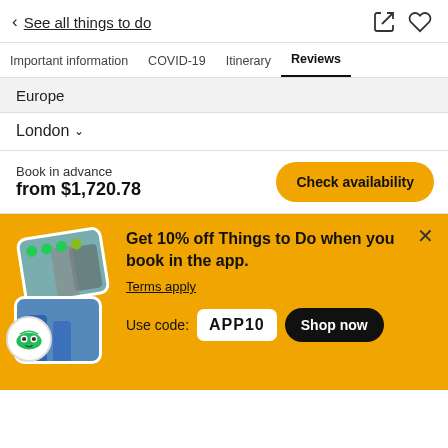< See all things to do
Important information  COVID-19  Itinerary  Reviews
Europe
London
Book in advance from $1,720.78
Get 10% off Things to Do when you book in the app. Terms apply Use code: APP10
[Figure (screenshot): Promotional banner with stacked photo cards and TripAdvisor owl logo on yellow background]